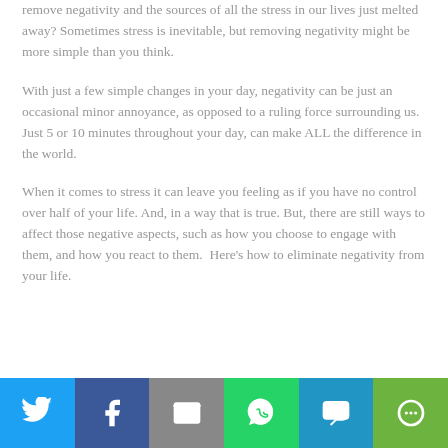remove negativity and the sources of all the stress in our lives just melted away? Sometimes stress is inevitable, but removing negativity might be more simple than you think.
With just a few simple changes in your day, negativity can be just an occasional minor annoyance, as opposed to a ruling force surrounding us. Just 5 or 10 minutes throughout your day, can make ALL the difference in the world.
When it comes to stress it can leave you feeling as if you have no control over half of your life. And, in a way that is true. But, there are still ways to affect those negative aspects, such as how you choose to engage with them, and how you react to them. Here’s how to eliminate negativity from your life.
[Figure (other): Social sharing bar with Twitter, Facebook, Email, WhatsApp, SMS, and More buttons]